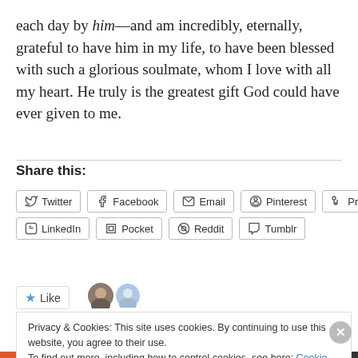each day by him—and am incredibly, eternally, grateful to have him in my life, to have been blessed with such a glorious soulmate, whom I love with all my heart. He truly is the greatest gift God could have ever given to me.
Share this:
[Figure (screenshot): Social share buttons: Twitter, Facebook, Email, Pinterest, Print, LinkedIn, Pocket, Reddit, Tumblr]
[Figure (screenshot): Like button with star icon and avatar images]
Privacy & Cookies: This site uses cookies. By continuing to use this website, you agree to their use.
To find out more, including how to control cookies, see here: Cookie Policy
Close and accept